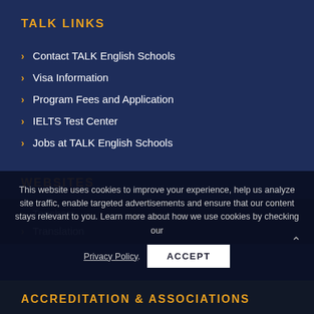TALK LINKS
Contact TALK English Schools
Visa Information
Program Fees and Application
IELTS Test Center
Jobs at TALK English Schools
WEBSITES
Corporate & Executive Training
Teachers
Translation
This website uses cookies to improve your experience, help us analyze site traffic, enable targeted advertisements and ensure that our content stays relevant to you. Learn more about how we use cookies by checking our Privacy Policy.
ACCREDITATION & ASSOCIATIONS